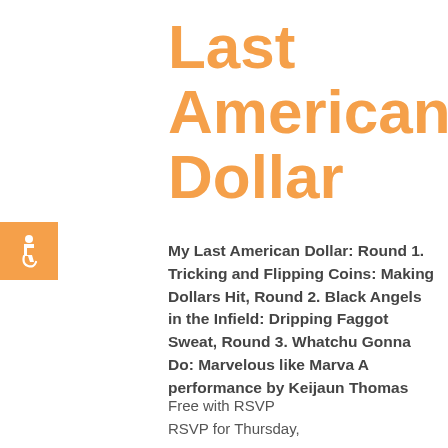Last American Dollar
[Figure (illustration): Wheelchair accessibility icon — white wheelchair symbol on orange square background]
My Last American Dollar: Round 1. Tricking and Flipping Coins: Making Dollars Hit, Round 2. Black Angels in the Infield: Dripping Faggot Sweat, Round 3. Whatchu Gonna Do: Marvelous like Marva A performance by Keijaun Thomas
Free with RSVP
RSVP for Thursday,